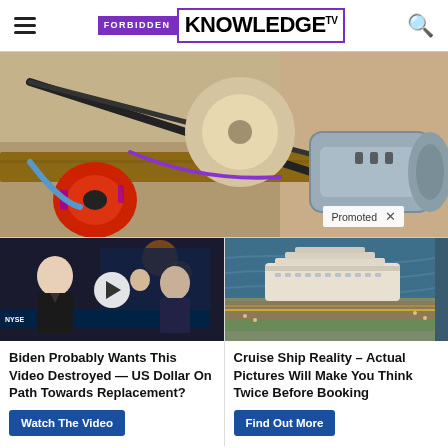FORBIDDEN KNOWLEDGE TV
[Figure (photo): Close-up photo of mechanical/electronic components on a wooden surface including a red motor component, metal cylindrical motor, and wires. Banner advertisement image with 'Promoted' tag.]
[Figure (screenshot): Two-column sponsored content block. Left: video thumbnail showing man in suit on TV set with NYSE chyron and play button overlay. Right: aerial photo of cruise ship alongside a coastal road.]
Biden Probably Wants This Video Destroyed — US Dollar On Path Towards Replacement?
Watch The Video
Cruise Ship Reality – Actual Pictures Will Make You Think Twice Before Booking
Find Out More